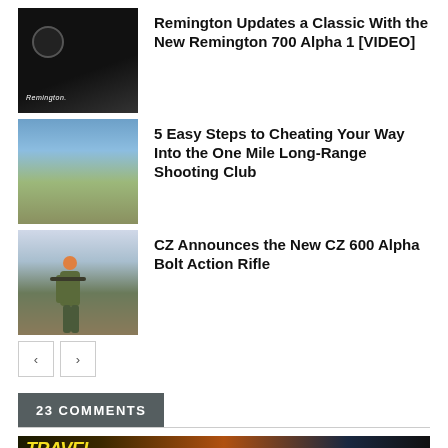[Figure (photo): Remington rifle/camera view, dark background with Remington logo text]
Remington Updates a Classic With the New Remington 700 Alpha 1 [VIDEO]
[Figure (photo): Landscape photo with hills and open field under blue sky]
5 Easy Steps to Cheating Your Way Into the One Mile Long-Range Shooting Club
[Figure (photo): Hunter in camo with orange hat holding rifle, outdoors]
CZ Announces the New CZ 600 Alpha Bolt Action Rifle
23 COMMENTS
[Figure (infographic): Travel Guide for Gun Owners ad banner: Protect yourself wherever you go. U.S. LawShield]